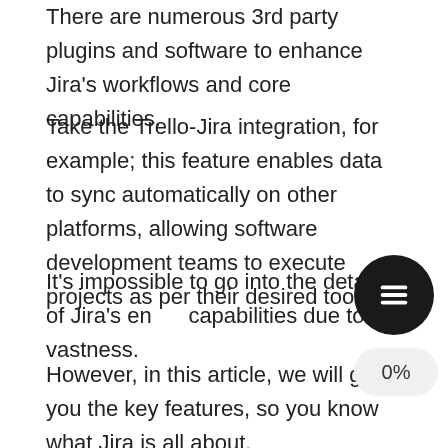There are numerous 3rd party plugins and software to enhance Jira's workflows and core capabilities.
Take the Trello-Jira integration, for example; this feature enables data to sync automatically on other platforms, allowing software development teams to execute projects as per their desired tools.
It's impossible to go into the details of Jira's entire capabilities due to its vastness.
However, in this article, we will give you the key features, so you know what Jira is all about.